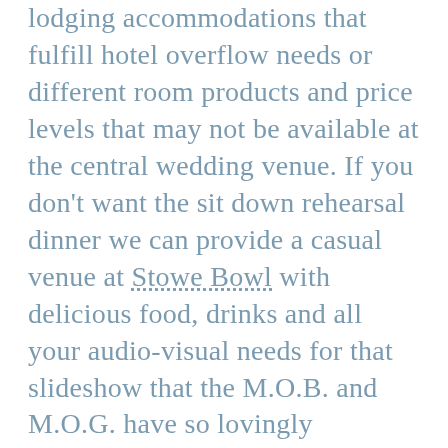lodging accommodations that fulfill hotel overflow needs or different room products and price levels that may not be available at the central wedding venue. If you don't want the sit down rehearsal dinner we can provide a casual venue at Stowe Bowl with delicious food, drinks and all your audio-visual needs for that slideshow that the M.O.B. and M.O.G. have so lovingly compiled together… bare bottom toddlers and all. If you really want to keep the party going and knock their socks off, provide an after party at Stowe Bowl. Wedding